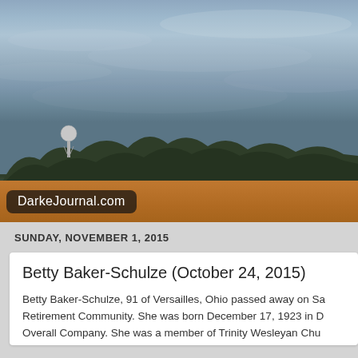[Figure (photo): Landscape photo showing a rural Ohio scene with overcast sky, treeline, water tower, and an agricultural field with reddish-brown crops in the foreground.]
DarkeJournal.com
SUNDAY, NOVEMBER 1, 2015
Betty Baker-Schulze (October 24, 2015)
Betty Baker-Schulze, 91 of Versailles, Ohio passed away on Sa Retirement Community. She was born December 17, 1923 in D Overall Company. She was a member of Trinity Wesleyan Chu